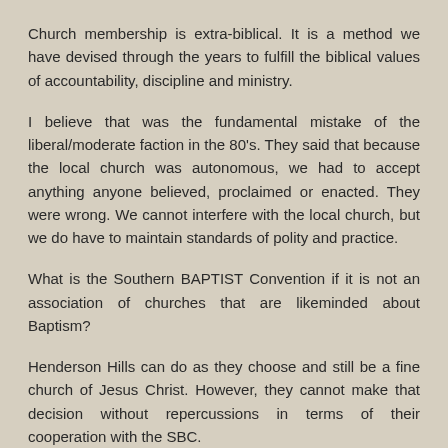Church membership is extra-biblical. It is a method we have devised through the years to fulfill the biblical values of accountability, discipline and ministry.
I believe that was the fundamental mistake of the liberal/moderate faction in the 80's. They said that because the local church was autonomous, we had to accept anything anyone believed, proclaimed or enacted. They were wrong. We cannot interfere with the local church, but we do have to maintain standards of polity and practice.
What is the Southern BAPTIST Convention if it is not an association of churches that are likeminded about Baptism?
Henderson Hills can do as they choose and still be a fine church of Jesus Christ. However, they cannot make that decision without repercussions in terms of their cooperation with the SBC.
Reply